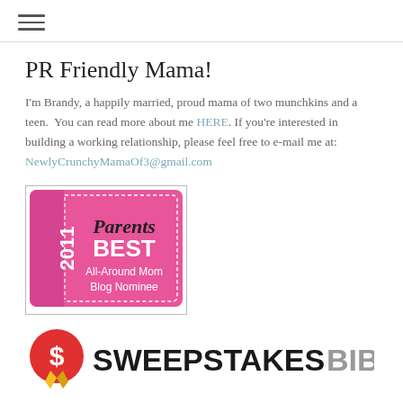≡ (hamburger menu)
PR Friendly Mama!
I'm Brandy, a happily married, proud mama of two munchkins and a teen.  You can read more about me HERE. If you're interested in building a working relationship, please feel free to e-mail me at: NewlyCrunchyMamaOf3@gmail.com
[Figure (logo): Parents magazine 2011 BEST All-Around Mom Blog Nominee badge (pink square with dashed border, white text)]
[Figure (logo): Sweepstakes Bible logo: red circular icon with dollar sign and gold ribbon, followed by bold black SWEEPSTAKES and gray BIBLE text]